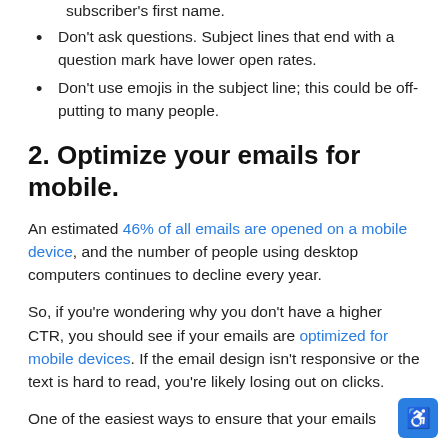subscriber's first name.
Don't ask questions. Subject lines that end with a question mark have lower open rates.
Don't use emojis in the subject line; this could be off-putting to many people.
2. Optimize your emails for mobile.
An estimated 46% of all emails are opened on a mobile device, and the number of people using desktop computers continues to decline every year.
So, if you're wondering why you don't have a higher CTR, you should see if your emails are optimized for mobile devices. If the email design isn't responsive or the text is hard to read, you're likely losing out on clicks.
One of the easiest ways to ensure that your emails